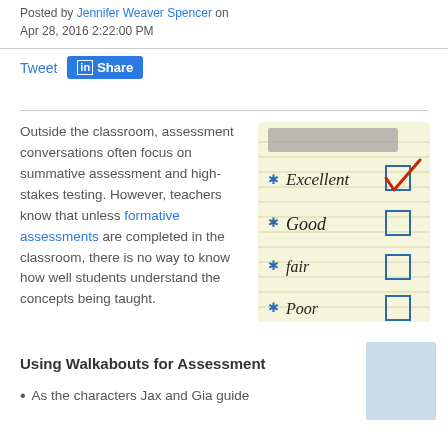Posted by Jennifer Weaver Spencer on Apr 28, 2016 2:22:00 PM
Tweet  Share
Outside the classroom, assessment conversations often focus on summative assessment and high-stakes testing. However, teachers know that unless formative assessments are completed in the classroom, there is no way to know how well students understand the concepts being taught.
[Figure (illustration): A lined notepad checklist showing options Excellent (checked with red checkmark), Good, Fair, Poor with blue star bullets and blue checkboxes]
Using Walkabouts for Assessment
As the characters Jax and Gia guide